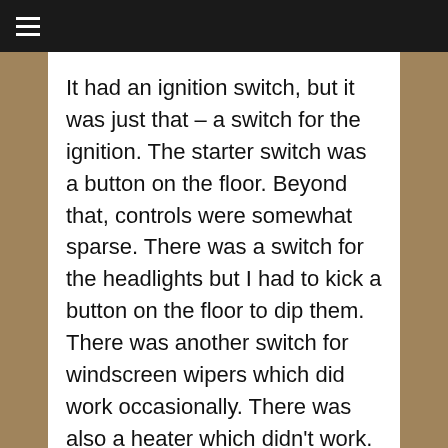≡
It had an ignition switch, but it was just that – a switch for the ignition. The starter switch was a button on the floor. Beyond that, controls were somewhat sparse. There was a switch for the headlights but I had to kick a button on the floor to dip them. There was another switch for windscreen wipers which did work occasionally. There was also a heater which didn't work. There was an indicator arm on the steering column with a little lamp on the end to remind me to switch it off.
That was about it.
There was a rear-view mirror all right but no wing mirrors. I decided to go posh and buy myself a